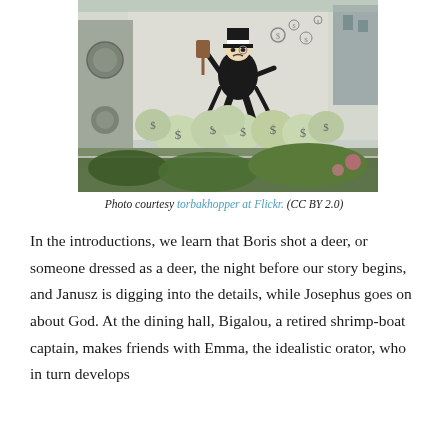[Figure (photo): Street photograph of a building wall painted with a graffiti mural depicting the Monopoly man (Rich Uncle Pennybags) in top hat and tuxedo, dancing/jumping over a pile of money bags with dollar signs. The scene is set in an urban outdoor area with overgrown weeds, concrete ground, and greenery in the foreground.]
Photo courtesy torbakhopper at Flickr. (CC BY 2.0)
In the introductions, we learn that Boris shot a deer, or someone dressed as a deer, the night before our story begins, and Janusz is digging into the details, while Josephus goes on about God. At the dining hall, Bigalou, a retired shrimp-boat captain, makes friends with Emma, the idealistic orator, who in turn develops